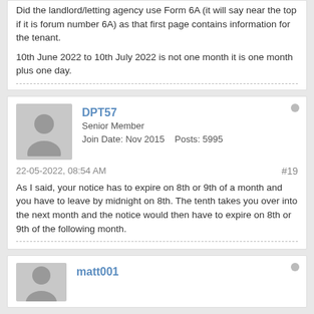Did the landlord/letting agency use Form 6A (it will say near the top if it is forum number 6A) as that first page contains information for the tenant.
10th June 2022 to 10th July 2022 is not one month it is one month plus one day.
DPT57
Senior Member
Join Date: Nov 2015    Posts: 5995
22-05-2022, 08:54 AM
#19
As I said, your notice has to expire on 8th or 9th of a month and you have to leave by midnight on 8th. The tenth takes you over into the next month and the notice would then have to expire on 8th or 9th of the following month.
matt001